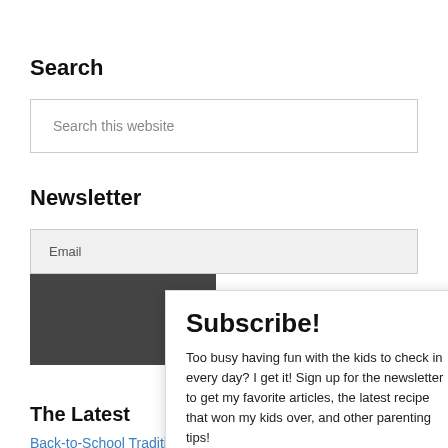Search
Search this website
Newsletter
Email
The Latest
Back-to-School Traditions for You to Start
Subscribe!
Too busy having fun with the kids to check in every day? I get it! Sign up for the newsletter to get my favorite articles, the latest recipe that won my kids over, and other parenting tips!